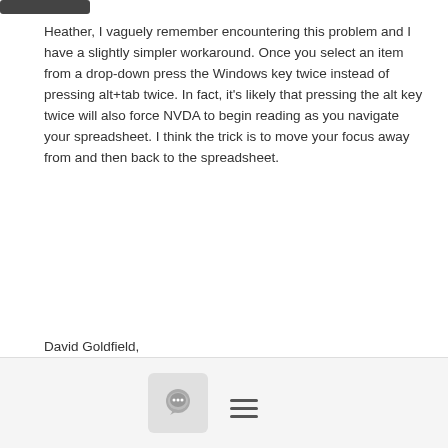Heather, I vaguely remember encountering this problem and I have a slightly simpler workaround. Once you select an item from a drop-down press the Windows key twice instead of pressing alt+tab twice. In fact, it's likely that pressing the alt key twice will also force NVDA to begin reading as you navigate your spreadsheet. I think the trick is to move your focus away from and then back to the spreadsheet.
David Goldfield,
Blindness Assistive Technology Specialist
JAWS Certified, 2019
Subscribe to the Tech-VI announcement list to receive emails regarding news and events in the blindness assistive technology field.
Email: tech-vi+subscribe@groups.io
www.DavidGoldfield.org
[Figure (other): Footer bar with a chat/comment icon button and a hamburger menu icon]